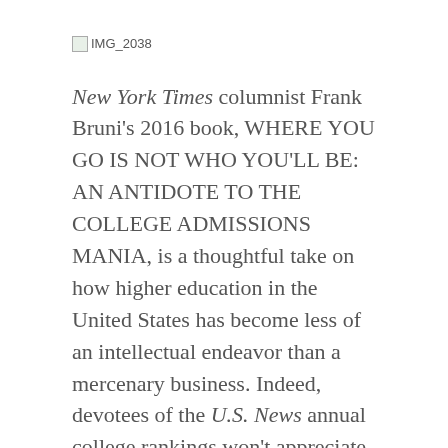[Figure (other): Broken image placeholder labeled IMG_2038]
New York Times columnist Frank Bruni's 2016 book, WHERE YOU GO IS NOT WHO YOU'LL BE: AN ANTIDOTE TO THE COLLEGE ADMISSIONS MANIA, is a thoughtful take on how higher education in the United States has become less of an intellectual endeavor than a mercenary business. Indeed, devotees of the U.S. News annual college rankings won't appreciate Bruni's assertion that, when it comes to manipulating admission data to give a false picture of how selective they are in